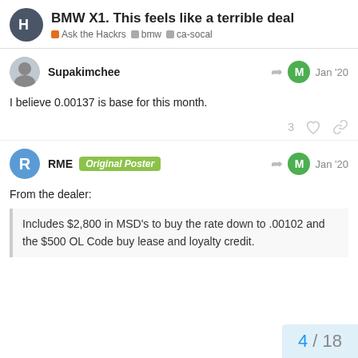BMW X1. This feels like a terrible deal | Ask the Hackrs · bmw · ca-socal
Supakimchee Jan '20
I believe 0.00137 is base for this month.
RME Original Poster Jan '20
From the dealer:
Includes $2,800 in MSD's to buy the rate down to .00102 and the $500 OL Code buy lease and loyalty credit.
4 / 18